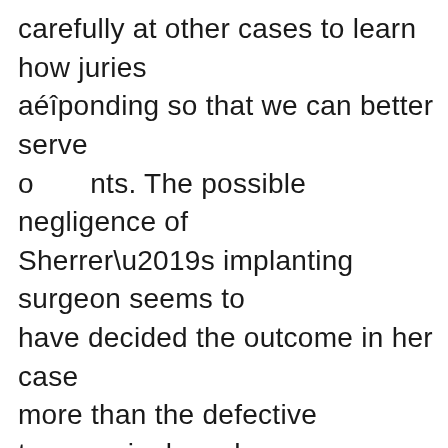carefully at other cases to learn how juries aéîponding so that we can better serve o nts. The possible negligence of Sherrer’s implanting surgeon seems to have decided the outcome in her case more than the defective transvaginal mesh devices implanted in her. Defense strategies often center on blaming other parties. As a result, attention is drawn away from their defective products, as was the case here. When defendants win a trial based on facts other than the defective products themselves, it does little to decrease the amounts discussed in